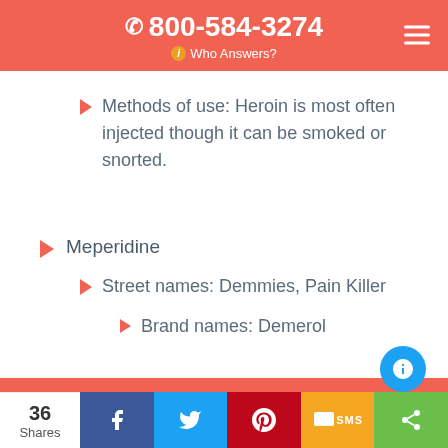800-584-3274 Who Answers?
Methods of use: Heroin is most often injected though it can be smoked or snorted.
Meperidine
Street names: Demmies, Pain Killer
Brand names: Demerol
36 Shares